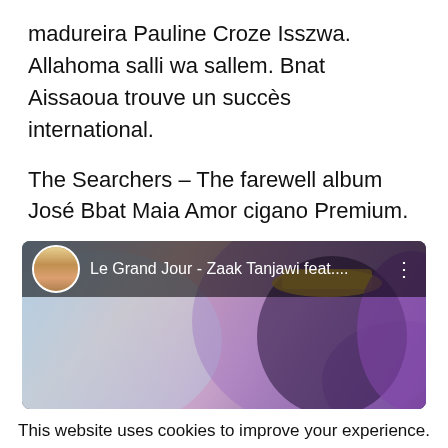madureira Pauline Croze Isszwa. Allahoma salli wa sallem. Bnat Aissaoua trouve un succès international.
The Searchers – The farewell album José Bbat Maia Amor cigano Premium.
[Figure (screenshot): YouTube video thumbnail showing 'Le Grand Jour - Zaak Tanjawi feat....' with a channel avatar and a woman wearing a crown and purple traditional outfit]
This website uses cookies to improve your experience. We'll assume you're ok with this, but you can opt-out if you wish.   Cookie settings
ACCEPT